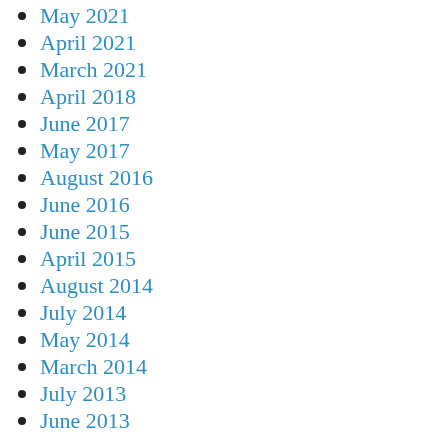May 2021
April 2021
March 2021
April 2018
June 2017
May 2017
August 2016
June 2016
June 2015
April 2015
August 2014
July 2014
May 2014
March 2014
July 2013
June 2013